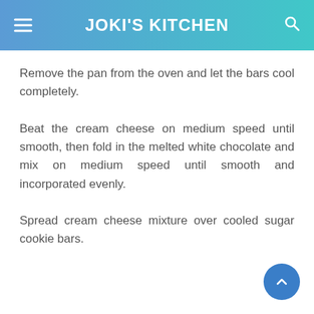JOKI'S KITCHEN
Remove the pan from the oven and let the bars cool completely.
Beat the cream cheese on medium speed until smooth, then fold in the melted white chocolate and mix on medium speed until smooth and incorporated evenly.
Spread cream cheese mixture over cooled sugar cookie bars.